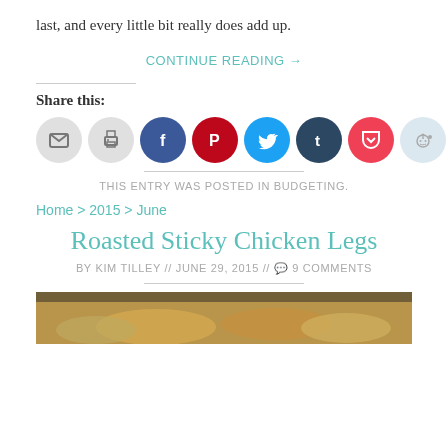last, and every little bit really does add up.
CONTINUE READING →
Share this:
[Figure (other): Row of social sharing icon circles: email, print, Facebook, Pinterest, Twitter, Tumblr, Pocket, Reddit]
THIS ENTRY WAS POSTED IN BUDGETING.
Home > 2015 > June
Roasted Sticky Chicken Legs
BY KIM TILLEY // JUNE 29, 2015 // 💬 9 COMMENTS
[Figure (photo): Photo of roasted sticky chicken legs on a plate, partially visible]